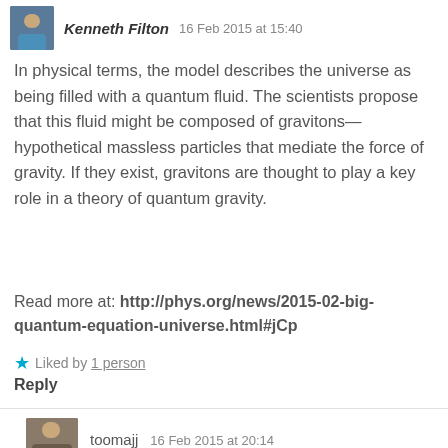Kenneth Filton  16 Feb 2015 at 15:40
In physical terms, the model describes the universe as being filled with a quantum fluid. The scientists propose that this fluid might be composed of gravitons—hypothetical massless particles that mediate the force of gravity. If they exist, gravitons are thought to play a key role in a theory of quantum gravity.
Read more at: http://phys.org/news/2015-02-big-quantum-equation-universe.html#jCp
★ Liked by 1 person
Reply
toomajj  16 Feb 2015 at 20:14